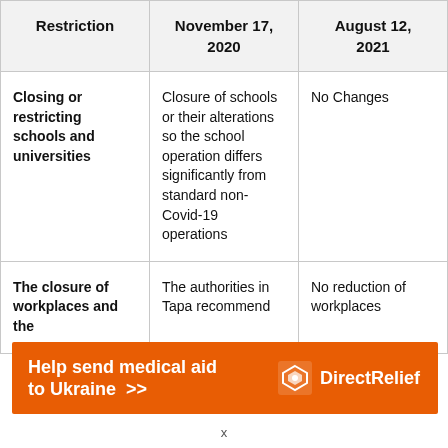| Restriction | November 17, 2020 | August 12, 2021 |
| --- | --- | --- |
| Closing or restricting schools and universities | Closure of schools or their alterations so the school operation differs significantly from standard non-Covid-19 operations | No Changes |
| The closure of workplaces and the | The authorities in Tapa recommend | No reduction of workplaces |
[Figure (other): Advertisement banner: 'Help send medical aid to Ukraine >>' with Direct Relief logo on orange background]